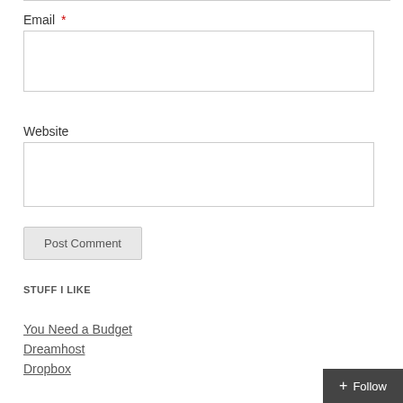Email *
[Figure (other): Email input text field, empty, with border]
Website
[Figure (other): Website input text field, empty, with border]
Post Comment
STUFF I LIKE
You Need a Budget
Dreamhost
Dropbox
+ Follow